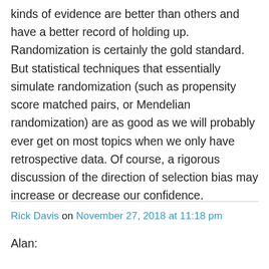kinds of evidence are better than others and have a better record of holding up. Randomization is certainly the gold standard. But statistical techniques that essentially simulate randomization (such as propensity score matched pairs, or Mendelian randomization) are as good as we will probably ever get on most topics when we only have retrospective data. Of course, a rigorous discussion of the direction of selection bias may increase or decrease our confidence.
Rick Davis on November 27, 2018 at 11:18 pm
Alan:
...beginning text about the first part of...